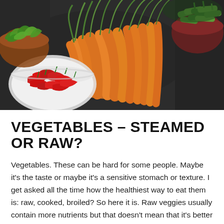[Figure (photo): Overhead photo of fresh vegetables on a dark background: bunches of carrots with green tops in the center, a bowl of red chili peppers on the left, a bowl of chopped herbs (rosemary or similar) on the left, and bowls of green vegetables (cucumbers, peas) on the right.]
VEGETABLES – STEAMED OR RAW?
Vegetables. These can be hard for some people. Maybe it's the taste or maybe it's a sensitive stomach or texture. I get asked all the time how the healthiest way to eat them is: raw, cooked, broiled? So here it is. Raw veggies usually contain more nutrients but that doesn't mean that it's better